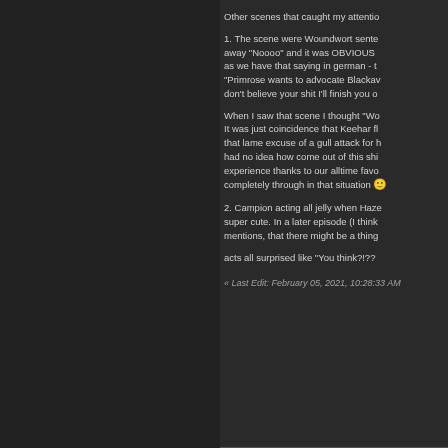Other scenes that caught my attention
1. The scene were Woundwort sente away "Noooo" and it was OBVIOUS as we have that saying in german - t "Primrose wants to advocate Blackav don't believe your shit I'll finish you o
When I saw that scene I thought "Wo It was just coincidence that Keehar fl that lame excuse of a gull attack for h had no idea how come out of this shi experience thanks to our alltime favo completely through in that situation 😊
2. Campion acting all jelly when Haze super cute. In a later episode (I think mentions, that there might be a thing
acts all surprised  like "You think?!??
« Last Edit: February 05, 2021, 10:28:33 AM